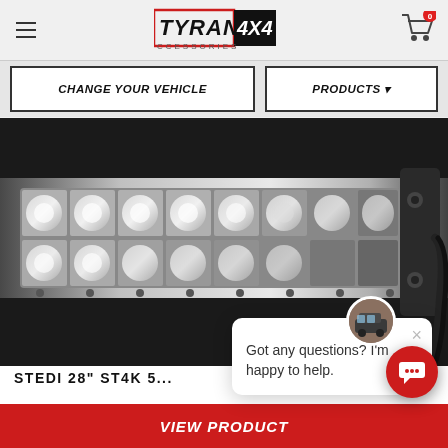[Figure (logo): TYRANT 4X4 ACCESSORIES logo in red and black]
CHANGE YOUR VEHICLE
PRODUCTS
[Figure (photo): Close-up photo of an LED light bar (STEDI 28 inch ST4K) on dark background]
STEDI 28" ST4K 5...
$270.00
Got any questions? I'm happy to help.
VIEW PRODUCT